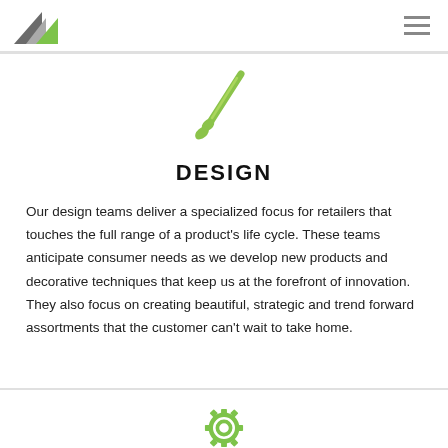Company logo and navigation menu
[Figure (illustration): Green paintbrush icon]
DESIGN
Our design teams deliver a specialized focus for retailers that touches the full range of a product's life cycle. These teams anticipate consumer needs as we develop new products and decorative techniques that keep us at the forefront of innovation. They also focus on creating beautiful, strategic and trend forward assortments that the customer can't wait to take home.
[Figure (illustration): Green gear/cog icon partially visible at bottom]